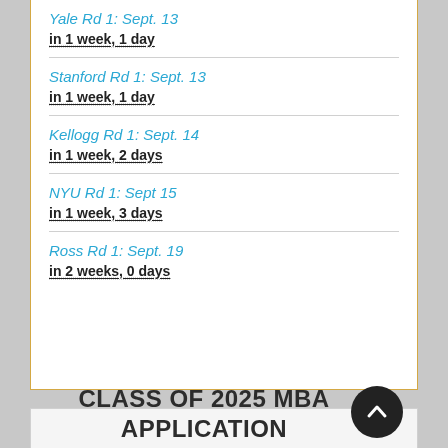Yale Rd 1: Sept. 13
in 1 week, 1 day
Stanford Rd 1: Sept. 13
in 1 week, 1 day
Kellogg Rd 1: Sept. 14
in 1 week, 2 days
NYU Rd 1: Sept 15
in 1 week, 3 days
Ross Rd 1: Sept. 19
in 2 weeks, 0 days
CLASS OF 2025 MBA APPLICATION STRATEGY GUIDES